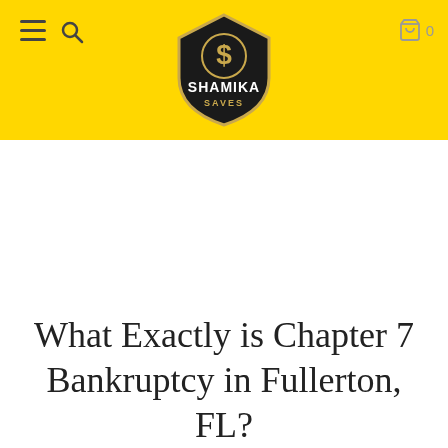Shamika Saves
What Exactly is Chapter 7 Bankruptcy in Fullerton, FL?